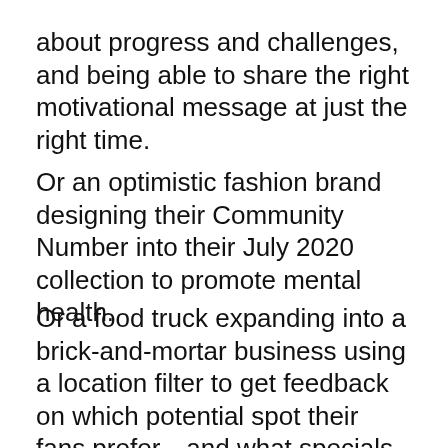about progress and challenges, and being able to share the right motivational message at just the right time.
Or an optimistic fashion brand designing their Community Number into their July 2020 collection to promote mental health.
Or a food truck expanding into a brick-and-mortar business using a location filter to get feedback on which potential spot their fans prefer—and what specials they love.
Our average community size is 1,000. And we